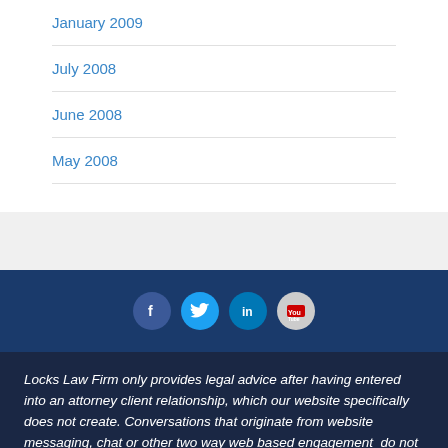January 2009
July 2008
June 2008
May 2008
[Figure (infographic): Social media icons: Facebook, Twitter, LinkedIn, YouTube on dark blue background]
Locks Law Firm only provides legal advice after having entered into an attorney client relationship, which our website specifically does not create. Conversations that originate from website messaging, chat or other two way web based engagement do not create an attorney client relationship. It is imperative that any action taken be done on the advice of